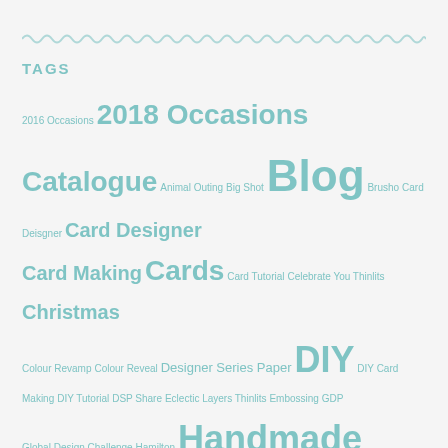TAGS
2016 Occasions 2018 Occasions Catalogue Animal Outing Big Shot Blog Brusho Card Deisgner Card Designer Card Making Cards Card Tutorial Celebrate You Thinlits Christmas Colour Revamp Colour Reveal Designer Series Paper DIY DIY Card Making DIY Tutorial DSP Share Eclectic Layers Thinlits Embossing GDP Global Design Challenge Hamilton Handmade Handstamped Happy Wishes Happy Wishes Stamp Set Have A Cuppa Holiday 2017 Holiday Catalogue Occasions Catalogue Paper Crafting Retiring List Rooted In Nature Rooted in Nature Stamp Set Sale-A-Bration Shop Spring Stampin' Up Stampin' Up! Colour Revamp Stampin' Up! Retiring The Stampin' Girl Welcome YouTube